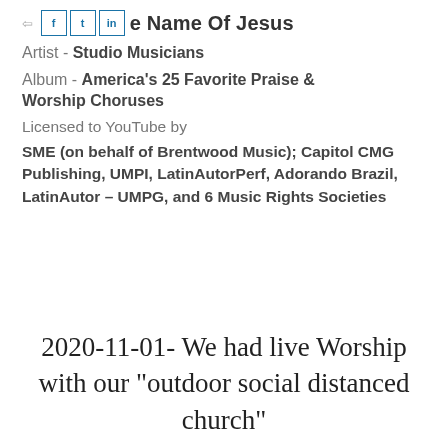In The Name Of Jesus
Artist - Studio Musicians
Album - America's 25 Favorite Praise & Worship Choruses
Licensed to YouTube by
SME (on behalf of Brentwood Music); Capitol CMG Publishing, UMPI, LatinAutorPerf, Adorando Brazil, LatinAutor – UMPG, and 6 Music Rights Societies
2020-11-01- We had live Worship with our "outdoor social distanced church"